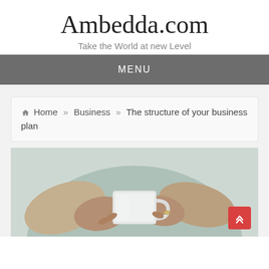Ambedda.com
Take the World at new Level
MENU
Home » Business » The structure of your business plan
[Figure (photo): Close-up photo of a person wearing a light teal apron, holding a white coffee cup with both hands, rings visible on fingers.]